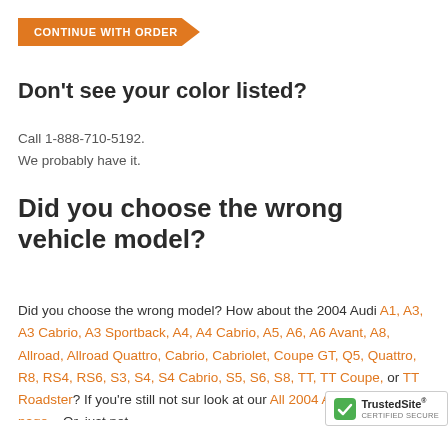[Figure (other): Orange arrow/chevron button with text CONTINUE WITH ORDER]
Don't see your color listed?
Call 1-888-710-5192.
We probably have it.
Did you choose the wrong vehicle model?
Did you choose the wrong model? How about the 2004 Audi A1, A3, A3 Cabrio, A3 Sportback, A4, A4 Cabrio, A5, A6, A6 Avant, A8, Allroad, Allroad Quattro, Cabrio, Cabriolet, Coupe GT, Q5, Quattro, R8, RS4, RS6, S3, S4, S4 Cabrio, S5, S6, S8, TT, TT Coupe, or TT Roadster? If you're still not sur... look at our All 2004 Audi Models page... Or, just not...
[Figure (logo): TrustedSite Certified Secure badge]